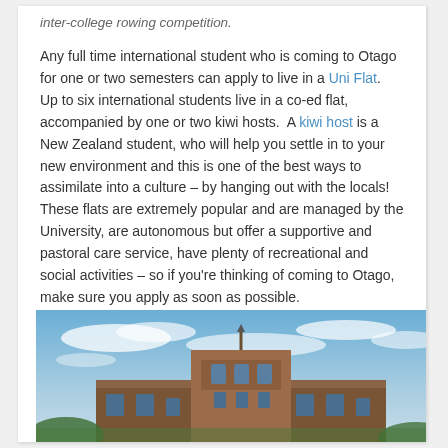inter-college rowing competition.
Any full time international student who is coming to Otago for one or two semesters can apply to live in a Uni Flat.  Up to six international students live in a co-ed flat, accompanied by one or two kiwi hosts.  A kiwi host is a New Zealand student, who will help you settle in to your new environment and this is one of the best ways to assimilate into a culture – by hanging out with the locals!  These flats are extremely popular and are managed by the University, are autonomous but offer a supportive and pastoral care service, have plenty of recreational and social activities – so if you're thinking of coming to Otago, make sure you apply as soon as possible.
[Figure (photo): Photo of a historic red-brick university building (likely University of Otago) against a partly cloudy blue sky]